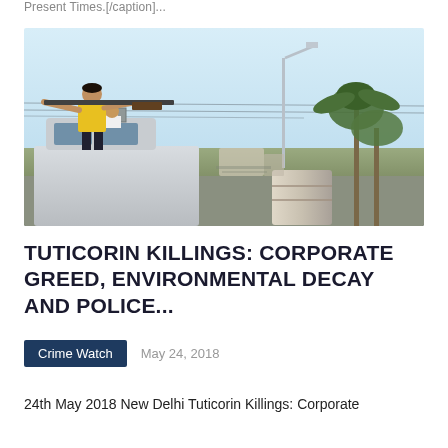Present Times.[/caption]...
[Figure (photo): A person in a yellow shirt standing on top of a police vehicle aiming a rifle, with another person visible through the vehicle hatch. Background shows a street light, palm trees, and a barrel on the right side.]
TUTICORIN KILLINGS: CORPORATE GREED, ENVIRONMENTAL DECAY AND POLICE...
Crime Watch
May 24, 2018
24th May 2018 New Delhi Tuticorin Killings: Corporate